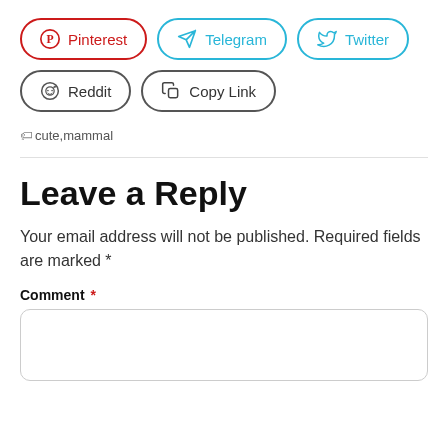[Figure (infographic): Social share buttons row 1: Pinterest (red border), Telegram (blue border), Twitter (blue border)]
[Figure (infographic): Social share buttons row 2: Reddit (dark border), Copy Link (dark border)]
cute,mammal
Leave a Reply
Your email address will not be published. Required fields are marked *
Comment *